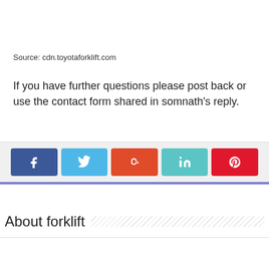Source: cdn.toyotaforklift.com
If you have further questions please post back or use the contact form shared in somnath's reply.
[Figure (other): Social share buttons: Facebook (blue), Twitter (light blue), StumbleUpon (orange-red), LinkedIn (teal), Pinterest (red)]
About forklift